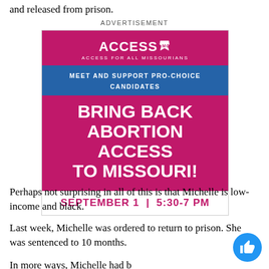and released from prison.
ADVERTISEMENT
[Figure (infographic): AccessMO advertisement - 'Bring Back Abortion Access to Missouri!' event ad for September 1, 5:30-7 PM, promoting pro-choice candidates with magenta background and blue bar.]
Perhaps not surprising in all of this is that Michelle is low-income and black.
Last week, Michelle was ordered to return to prison. She was sentenced to 10 months.
In more ways, Michelle had become one of the lucky...